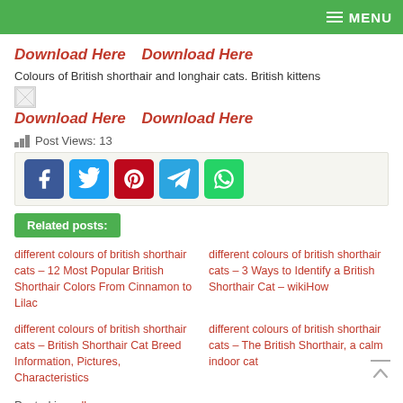MENU
Download Here  Download Here
Colours of British shorthair and longhair cats. British kittens
[Figure (other): Broken/missing image placeholder]
Download Here  Download Here
Post Views: 13
[Figure (other): Social share buttons: Facebook, Twitter, Pinterest, Telegram, WhatsApp]
Related posts:
different colours of british shorthair cats – 12 Most Popular British Shorthair Colors From Cinnamon to Lilac
different colours of british shorthair cats – 3 Ways to Identify a British Shorthair Cat – wikiHow
different colours of british shorthair cats – British Shorthair Cat Breed Information, Pictures, Characteristics
different colours of british shorthair cats – The British Shorthair, a calm indoor cat
Posted in wallpaper